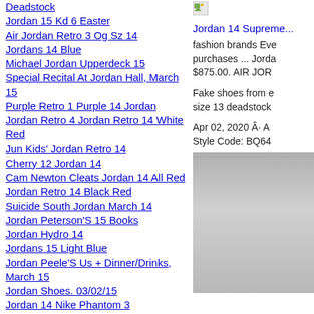Deadstock
Jordan 15 Kd 6 Easter
Air Jordan Retro 3 Og Sz 14
Jordans 14 Blue
Michael Jordan Upperdeck 15
Special Recital At Jordan Hall, March 15
Purple Retro 1 Purple 14 Jordan
Jordan Retro 4 Jordan Retro 14 White Red
Jun Kids' Jordan Retro 14
Cherry 12 Jordan 14
Cam Newton Cleats Jordan 14 All Red
Jordan Retro 14 Black Red
Suicide South Jordan March 14
Jordan Peterson'S 15 Books
Jordan Hydro 14
Jordans 15 Light Blue
Jordan Peele'S Us + Dinner/Drinks, March 15
Jordan Shoes. 03/02/15
Jordan 14 Nike Phantom 3
Jordans That Come Out On Feb 14 2017
New Lebrons Jordans 14
[Figure (photo): Small image placeholder icon in top right area]
Jordan 14 Supreme... fashion brands Eve purchases ... Jorda $875.00. AIR JOR
Fake shoes from e size 13 deadstock
Apr 02, 2020 Â· A Style Code: BQ64
[Figure (photo): Gray gradient image box in lower right column]